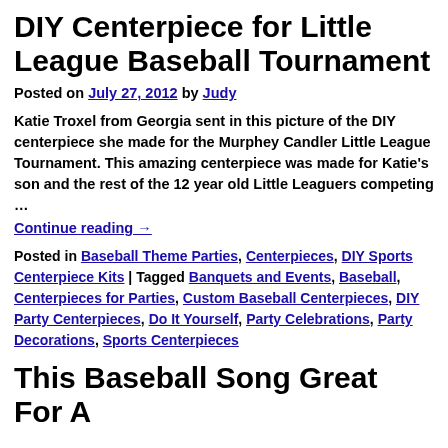DIY Centerpiece for Little League Baseball Tournament
Posted on July 27, 2012 by Judy
Katie Troxel from Georgia sent in this picture of the DIY centerpiece she made for the Murphey Candler Little League Tournament. This amazing centerpiece was made for Katie's son and the rest of the 12 year old Little Leaguers competing …
Continue reading →
Posted in Baseball Theme Parties, Centerpieces, DIY Sports Centerpiece Kits | Tagged Banquets and Events, Baseball, Centerpieces for Parties, Custom Baseball Centerpieces, DIY Party Centerpieces, Do It Yourself, Party Celebrations, Party Decorations, Sports Centerpieces
This Baseball Song Great For A